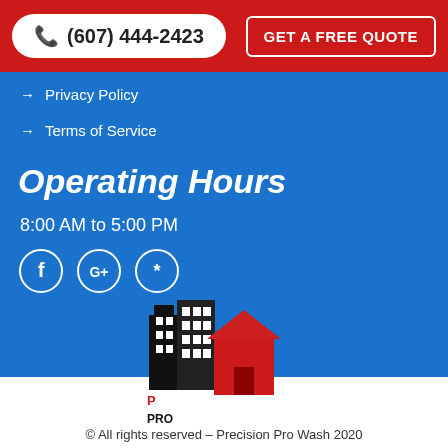(607) 444-2423 | GET A FREE QUOTE
→ Privacy Policy
→ Terms of Service
Operating Hours
8:00 AM to 5:00 PM
[Figure (logo): Social media icons: Facebook, Google+, Yelp]
[Figure (logo): Precision Pro Wash logo with building silhouette and red house]
© All rights reserved – Precision Pro Wash 2020